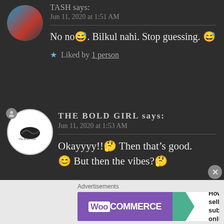TASH says:
Jun 11, 2020 at 1:51 AM
No no😅. Bilkul nahi. Stop guessing. 😅
★ Liked by 1 person
THE BOLD GIRL says:
Jun 11, 2020 at 1:53 AM
Okayyyy!!🤔 Then that's good. 😊 But then the vibes?🤔
Advertisements
[Figure (screenshot): WooCommerce advertisement banner: 'How to start selling subscriptions online']